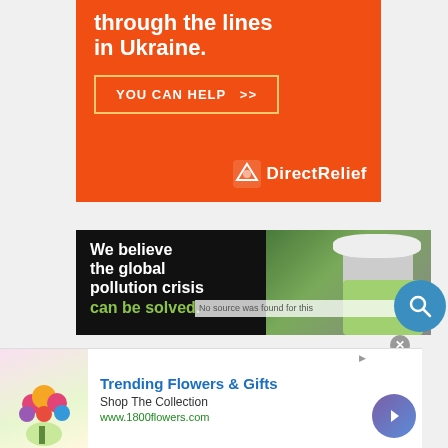[Figure (other): Direct Relief orange advertisement banner. Text reads 'through the lines in Ukraine.' with a 'YOU CAN HELP >>' button and the DirectRelief logo at bottom right.]
[Figure (other): Environmental organization advertisement on black background. Text reads 'We believe the global pollution crisis can be solved.' with a photo of a worker in a white hard hat.]
No source was found for this
[Figure (other): 1800flowers.com advertisement banner. Shows flowers bouquet image. Text: 'Trending Flowers & Gifts', 'Shop The Collection', 'www.1800flowers.com']